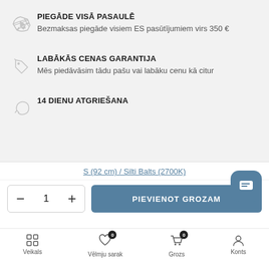PIEGĀDE VISĀ PASAULĒ
Bezmaksas piegāde visiem ES pasūtījumiem virs 350 €
LABĀKĀS CENAS GARANTIJA
Mēs piedāvāsim tādu pašu vai labāku cenu kā citur
14 DIENU ATGRIEŠANA
S (92 cm) / Silti Balts (2700K)
PIEVIENOT GROZAM
Veikals  Vēlmju sarak  Grozs  Konts